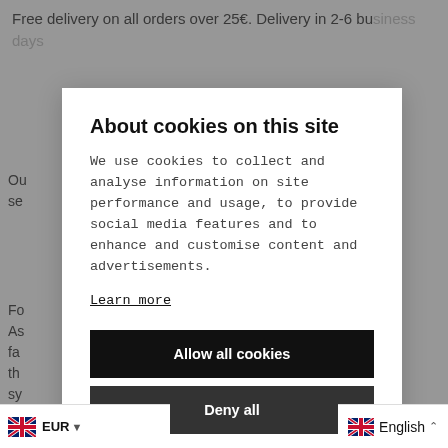Free delivery on all orders over 25€. Delivery in 2-6 business days
About cookies on this site
We use cookies to collect and analyse information on site performance and usage, to provide social media features and to enhance and customise content and advertisements.
Learn more
Allow all cookies
Deny all
Cookie settings
English